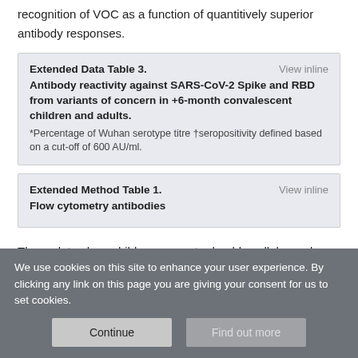recognition of VOC as a function of quantitively superior antibody responses.
| Extended Data Table 3. | View inline |
| Antibody reactivity against SARS-CoV-2 Spike and RBD from variants of concern in +6-month convalescent children and adults. |  |
| *Percentage of Wuhan serotype titre †seropositivity defined based on a cut-off of 600 AU/ml. |  |
| Extended Method Table 1. | View inline |
| Flow cytometry antibodies |  |
These data show children generate durable cellular and humoral immune responses following natural SARS-CoV-2 infection within
We use cookies on this site to enhance your user experience. By clicking any link on this page you are giving your consent for us to set cookies.